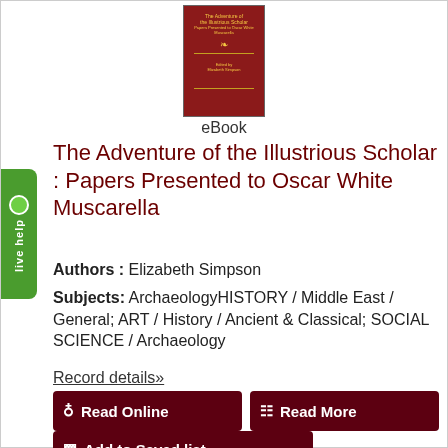[Figure (illustration): Red book cover for 'The Adventure of the Illustrious Scholar: Papers Presented to Oscar White Muscarella']
eBook
The Adventure of the Illustrious Scholar : Papers Presented to Oscar White Muscarella
Authors : Elizabeth Simpson
Subjects: ArchaeologyHISTORY / Middle East / General; ART / History / Ancient & Classical; SOCIAL SCIENCE / Archaeology
Record details»
Read Online
Read More
Add to Saved list